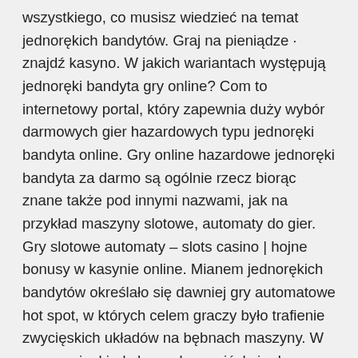wszystkiego, co musisz wiedzieć na temat jednorękich bandytów. Graj na pieniądze · znajdź kasyno. W jakich wariantach występują jednoręki bandyta gry online? Com to internetowy portal, który zapewnia duży wybór darmowych gier hazardowych typu jednoręki bandyta online. Gry online hazardowe jednoręki bandyta za darmo są ogólnie rzecz biorąc znane także pod innymi nazwami, jak na przykład maszyny slotowe, automaty do gier. Gry slotowe automaty – slots casino | hojne bonusy w kasynie online. Mianem jednorękich bandytów określało się dawniej gry automatowe hot spot, w których celem graczy było trafienie zwycięskich układów na bębnach maszyny. W momencie, kiedy hazard przeniósł się do internetu, okazało się, że docelowym odbiorcą gier będzie inny typ człowieka. To właśnie dlatego każde kasyno. Darmowe gry hazardowe casino online, w którą